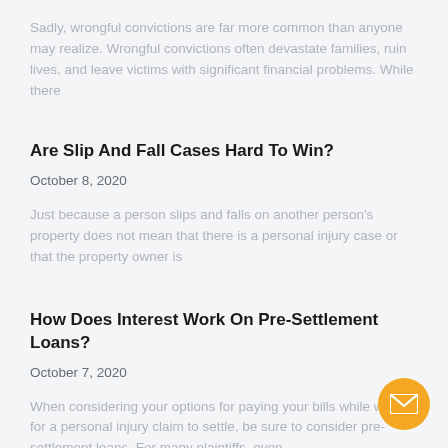Sadly, wrongful convictions are far more common than anyone may realize. Wrongful convictions often devastate families, ruin lives, and leave victims with significant financial problems. While there
Are Slip And Fall Cases Hard To Win?
October 8, 2020
Just because a person slips and falls on another person's property does not mean that there is a personal injury case or that the property owner is
How Does Interest Work On Pre-Settlement Loans?
October 7, 2020
When considering your options for paying your bills while waiting for a personal injury claim to settle, be sure to consider pre-settlement loans. For many plaintiffs, even